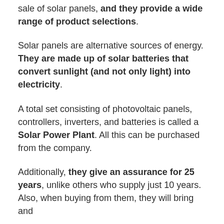sale of solar panels, and they provide a wide range of product selections.
Solar panels are alternative sources of energy. They are made up of solar batteries that convert sunlight (and not only light) into electricity.
A total set consisting of photovoltaic panels, controllers, inverters, and batteries is called a Solar Power Plant. All this can be purchased from the company.
Additionally, they give an assurance for 25 years, unlike others who supply just 10 years. Also, when buying from them, they will bring and